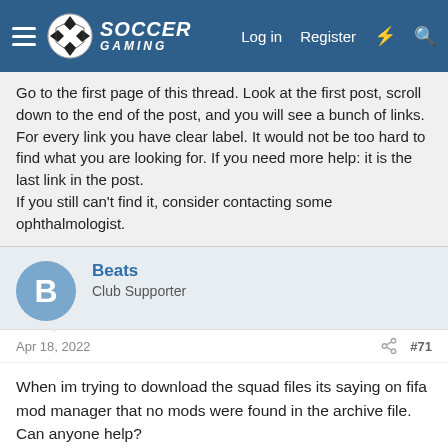Soccer Gaming - Log in | Register
Go to the first page of this thread. Look at the first post, scroll down to the end of the post, and you will see a bunch of links. For every link you have clear label. It would not be too hard to find what you are looking for. If you need more help: it is the last link in the post.
If you still can't find it, consider contacting some ophthalmologist.
Beats
Club Supporter
Apr 18, 2022
#71
When im trying to download the squad files its saying on fifa mod manager that no mods were found in the archive file. Can anyone help?
rhapsoad
Club Supporter